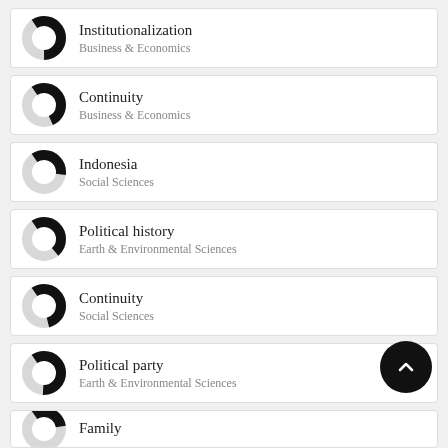Institutionalization
Business & Economics
Continuity
Business & Economics
Indonesia
Social Sciences
Political history
Earth & Environmental Sciences
Continuity
Social Sciences
Political party
Earth & Environmental Sciences
Family